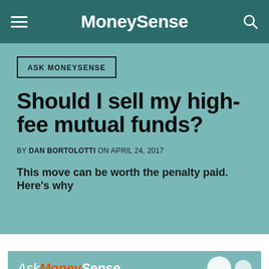MoneySense
ASK MONEYSENSE
Should I sell my high-fee mutual funds?
BY DAN BORTOLOTTI ON APRIL 24, 2017
This move can be worth the penalty paid. Here's why
[Figure (logo): Ask MoneySense logo banner with teal background and partial circular graphic]